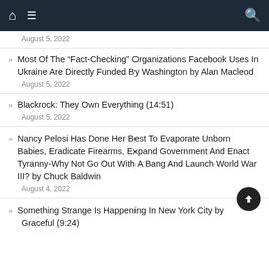Navigation bar with home, hamburger, and search icons
August 5, 2022
Most Of The “Fact-Checking” Organizations Facebook Uses In Ukraine Are Directly Funded By Washington by Alan Macleod — August 5, 2022
Blackrock: They Own Everything (14:51) — August 5, 2022
Nancy Pelosi Has Done Her Best To Evaporate Unborn Babies, Eradicate Firearms, Expand Government And Enact Tyranny-Why Not Go Out With A Bang And Launch World War III? by Chuck Baldwin — August 4, 2022
Something Strange Is Happening In New York City by Only Graceful (9:24)